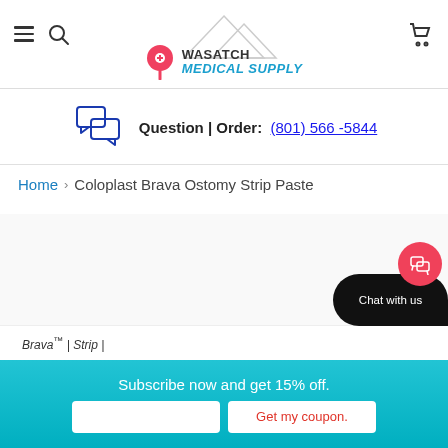Wasatch Medical Supply
Question | Order: (801) 566-5844
Home > Coloplast Brava Ostomy Strip Paste
[Figure (screenshot): Partial product image of Coloplast Brava Strip Paste with a dark chat bubble overlay]
Subscribe now and get 15% off.
Get my coupon.